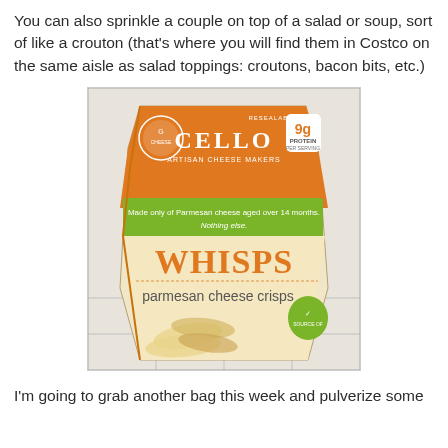You can also sprinkle a couple on top of a salad or soup, sort of like a crouton (that's where you will find them in Costco on the same aisle as salad toppings: croutons, bacon bits, etc.)
[Figure (photo): A bag of Cello Whisps parmesan cheese crisps. The bag has an orange top with the Cello brand name and '9g PROTEIN PER SERVING' label, a green middle band reading 'Made only of Parmesan cheese aged over 14 months. Nothing else.', and large orange text reading 'WHISPS parmesan cheese crisps' on a cream/tan background showing the crispy chips inside.]
I'm going to grab another bag this week and pulverize some